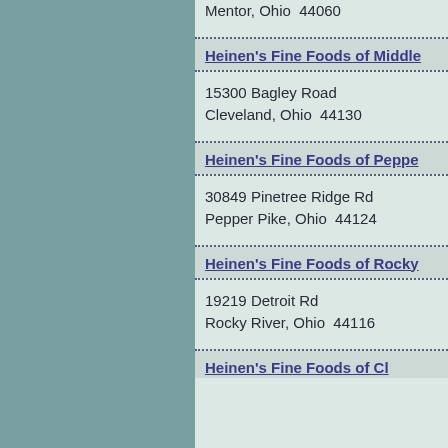Mentor, Ohio  44060
Heinen's Fine Foods of Middle...
15300 Bagley Road
Cleveland, Ohio  44130
Heinen's Fine Foods of Peppe...
30849 Pinetree Ridge Rd
Pepper Pike, Ohio  44124
Heinen's Fine Foods of Rocky...
19219 Detroit Rd
Rocky River, Ohio  44116
Heinen's Fine Foods of...